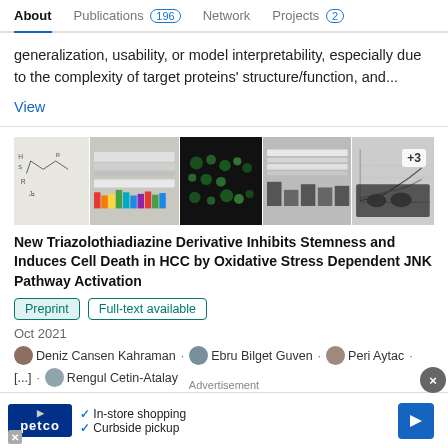About | Publications 196 | Network | Projects 2
generalization, usability, or model interpretability, especially due to the complexity of target proteins' structure/function, and...
View
[Figure (screenshot): Strip of 5 research paper figure images including chemical structure, western blots, fluorescence microscopy, gel images, and a line chart with +3 annotation]
New Triazolothiadiazine Derivative Inhibits Stemness and Induces Cell Death in HCC by Oxidative Stress Dependent JNK Pathway Activation
Preprint  Full-text available
Oct 2021
Deniz Cansen Kahraman · Ebru Bilget Guven · Peri Aytac · [...] · Rengul Cetin-Atalay
Advertisement